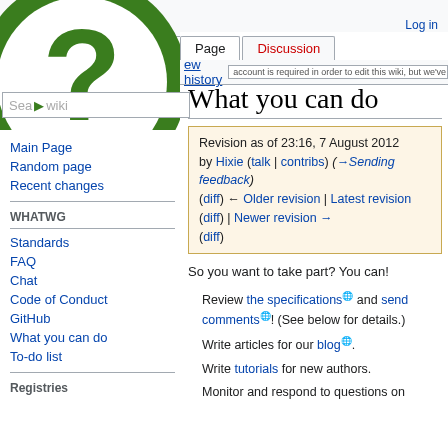Log in
Page | Discussion | view history
[Figure (logo): WHATWG wiki green question mark circular logo]
Search wiki
Main Page
Random page
Recent changes
WHATWG
Standards
FAQ
Chat
Code of Conduct
GitHub
What you can do
To-do list
Registries
What you can do
Revision as of 23:16, 7 August 2012 by Hixie (talk | contribs) (→Sending feedback) (diff) ← Older revision | Latest revision (diff) | Newer revision → (diff)
So you want to take part? You can!
Review the specifications and send comments! (See below for details.)
Write articles for our blog.
Write tutorials for new authors.
Monitor and respond to questions on